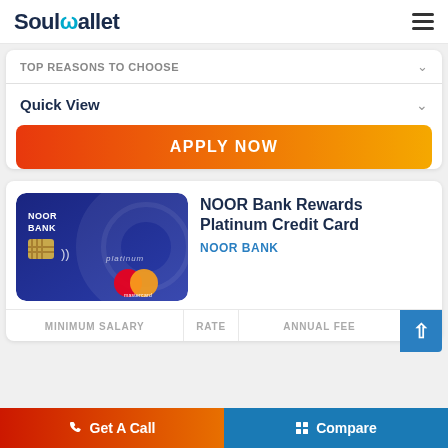SoulWallet
TOP REASONS TO CHOOSE
Quick View
APPLY NOW
[Figure (photo): NOOR Bank Rewards Platinum Credit Card - blue Mastercard credit card with contactless payment symbol]
NOOR Bank Rewards Platinum Credit Card
NOOR BANK
| MINIMUM SALARY | RATE | ANNUAL FEE |
| --- | --- | --- |
Get A Call   Compare